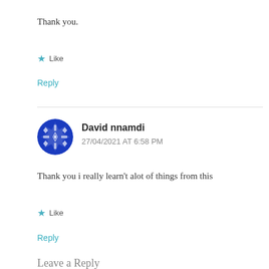Thank you.
★ Like
Reply
David nnamdi
27/04/2021 AT 6:58 PM
Thank you i really learn't alot of things from this
★ Like
Reply
Leave a Reply